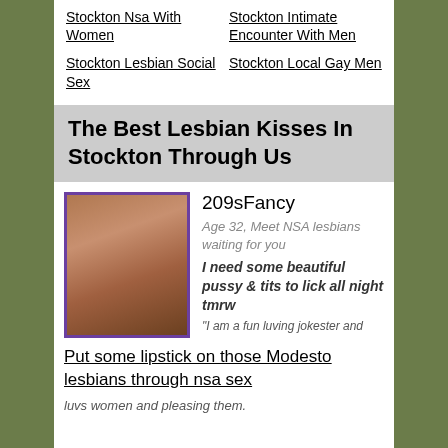Stockton Nsa With Women
Stockton Intimate Encounter With Men
Stockton Lesbian Social Sex
Stockton Local Gay Men
The Best Lesbian Kisses In Stockton Through Us
209sFancy
Age 32, Meet NSA lesbians waiting for you
I need some beautiful pussy & tits to lick all night tmrw
"I am a fun luving jokester and
[Figure (photo): Profile photo of a woman with dark hair wearing a blue top, shown against a dark background, framed with a purple border.]
Put some lipstick on those Modesto lesbians through nsa sex
luvs women and pleasing them.